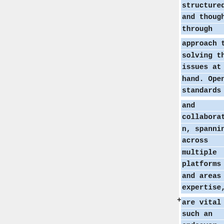structured and thought-through approach to solving the issues at hand. Open standards and collaboration, spanning across multiple platforms and areas of expertise, are vital in such an endeavor. OpenZIM is just that. A project were